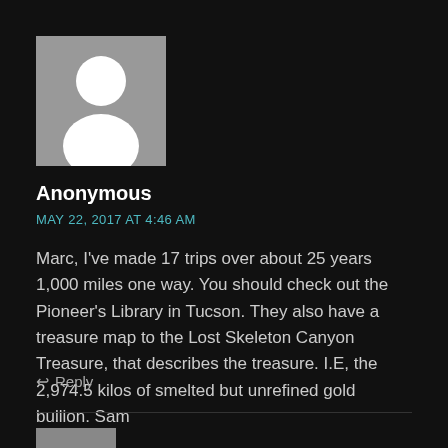[Figure (illustration): Anonymous user avatar - gray square with white silhouette of a person]
Anonymous
MAY 22, 2017 AT 4:46 AM
Marc, I've made 17 trips over about 25 years 1,000 miles one way. You should check out the Pioneer's Library in Tucson. They also have a treasure map to the Lost Skeleton Canyon Treasure, that describes the treasure. I.E, the 2,974.5 kilos of smelted but unrefined gold bullion. Sam
↩ Reply